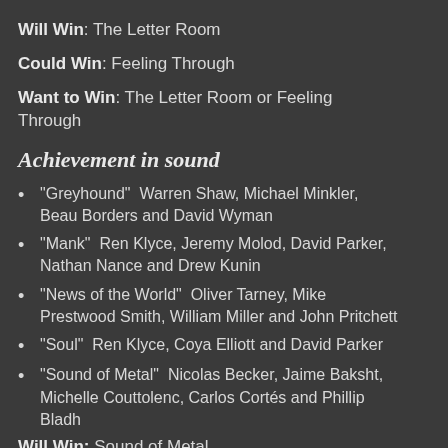Will Win: The Letter Room
Could Win: Feeling Through
Want to Win: The Letter Room or Feeling Through
Achievement in sound
"Greyhound"  Warren Shaw, Michael Minkler, Beau Borders and David Wyman
"Mank"  Ren Klyce, Jeremy Molod, David Parker, Nathan Nance and Drew Kunin
"News of the World"  Oliver Tarney, Mike Prestwood Smith, William Miller and John Pritchett
"Soul"  Ren Klyce, Coya Elliott and David Parker
"Sound of Metal"  Nicolas Becker, Jaime Baksht, Michelle Couttolenc, Carlos Cortés and Phillip Bladh
Will Win: Sound of Metal